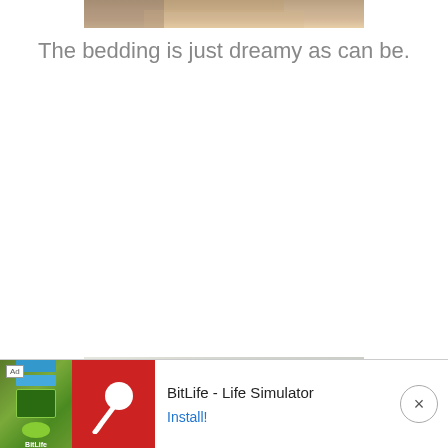[Figure (photo): Partial view of a fuzzy/furry bedding surface at the top of the page]
The bedding is just dreamy as can be.
[Figure (photo): Close-up photo of soft white/grey fluffy bedding or sheepskin material with a wooden element visible]
[Figure (other): Advertisement banner for BitLife - Life Simulator app with Install button and close button]